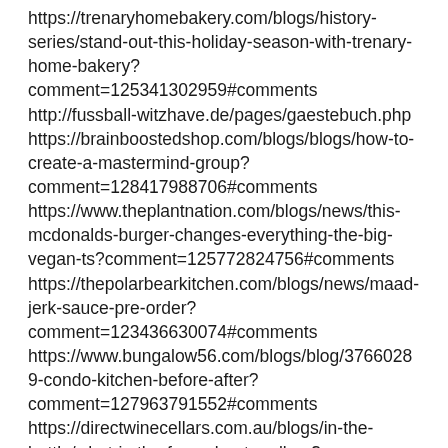https://trenaryhomebakery.com/blogs/history-series/stand-out-this-holiday-season-with-trenary-home-bakery?comment=125341302959#comments http://fussball-witzhave.de/pages/gaestebuch.php https://brainboostedshop.com/blogs/blogs/how-to-create-a-mastermind-group?comment=128417988706#comments https://www.theplantnation.com/blogs/news/this-mcdonalds-burger-changes-everything-the-big-vegan-ts?comment=125772824756#comments https://thepolarbearkitchen.com/blogs/news/maad-jerk-sauce-pre-order?comment=123436630074#comments https://www.bungalow56.com/blogs/blog/37660289-condo-kitchen-before-after?comment=127963791552#comments https://directwinecellars.com.au/blogs/in-the-bottle/what-is-the-fuss-about-malbec?comment=126758354995#comments https://www.drbonke.de/blog/beitrag/die-10-besten-hacks-f%C3%BCr-einen-gesunden-erholsamen-schlaf?